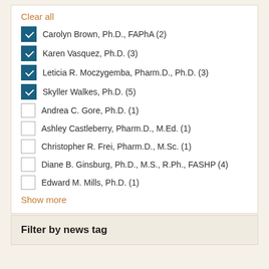Clear all
Carolyn Brown, Ph.D., FAPhA (2) [checked]
Karen Vasquez, Ph.D. (3) [checked]
Leticia R. Moczygemba, Pharm.D., Ph.D. (3) [checked]
Skyller Walkes, Ph.D. (5) [checked]
Andrea C. Gore, Ph.D. (1) [unchecked]
Ashley Castleberry, Pharm.D., M.Ed. (1) [unchecked]
Christopher R. Frei, Pharm.D., M.Sc. (1) [unchecked]
Diane B. Ginsburg, Ph.D., M.S., R.Ph., FASHP (4) [unchecked]
Edward M. Mills, Ph.D. (1) [unchecked]
Show more
Filter by news tag